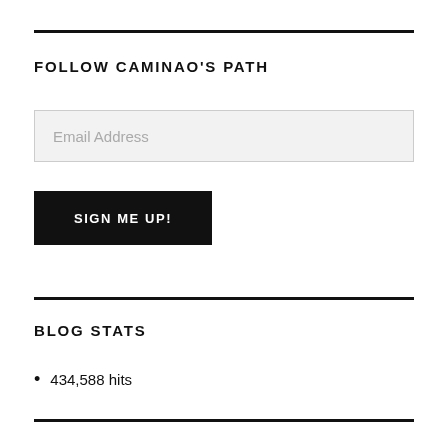FOLLOW CAMINAO'S PATH
Email Address
SIGN ME UP!
BLOG STATS
434,588 hits